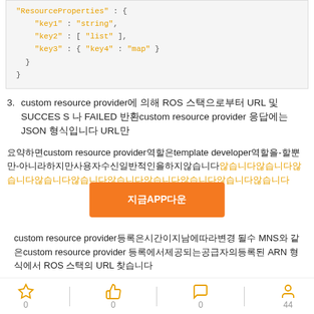"ResourceProperties" : {
    "key1" : "string",
    "key2" : [ "list" ],
    "key3" : { "key4" : "map" }
  }
}
3. custom resource provider에 의해 ROS 스택으로부터 URL 및 SUCCESS 나 FAILED 반환custom resource provider 응답에는 JSON 형식입니다 URL만
요약하면custom resource provider역할은template developer역할을-할뿐만-아니라하지만사용자수신일반적인을하지않습니다않습니다않습니다않습니다않습니다않습니다않습니다않습니다않습니다않습니다않습니다않습니다않습니다않습니다않습니다않습니다않습니다않습니다않습니다않습니다않습니다않습니다않습니다않습니다않습니다않습니다않습니다않습니다않습니다
[Figure (other): Orange button overlay: 지금APP다운]
custom resource provider등록은시간이지남에따라변경 될수 MNS와 같은custom resource provider 등록에서제공되는공급자의등록된 ARN 형식에서 ROS 스택의 URL 찾습니다
0  0  0  44